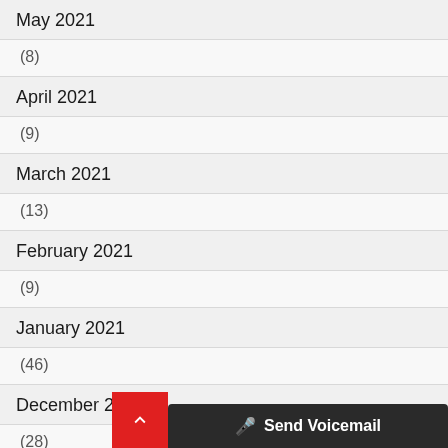May 2021
(8)
April 2021
(9)
March 2021
(13)
February 2021
(9)
January 2021
(46)
December 2020
(28)
Send Voicemail